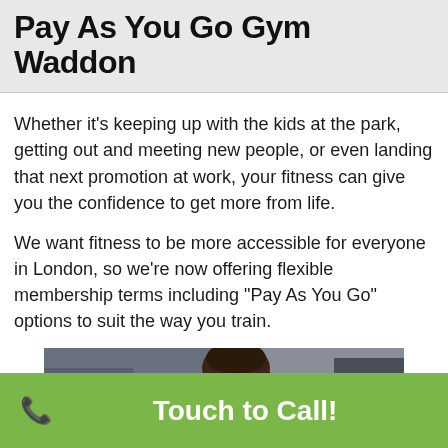Pay As You Go Gym Waddon
Whether it’s keeping up with the kids at the park, getting out and meeting new people, or even landing that next promotion at work, your fitness can give you the confidence to get more from life.
We want fitness to be more accessible for everyone in London, so we’re now offering flexible membership terms including “Pay As You Go” options to suit the way you train.
[Figure (photo): A woman working out on gym equipment, pulling cables, focused expression, gym background]
Touch to Call!